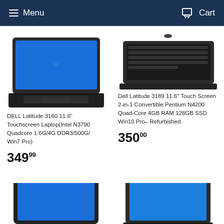Menu   Cart
[Figure (photo): DELL Latitude 3160 laptop open, keyboard visible, viewed from above-front angle, black casing]
DELL Latitude 3160 11.6" Touchscreen Laptop(Intel N3700 Quadcore 1.6G/4G DDR3/500G/ Win7 Pro)
349 99
[Figure (photo): Dell Latitude 3189 laptop open partially, viewed from front-top, dark grey casing]
Dell Latitude 3189 11.6" Touch Screen 2-in-1 Convertible Pentium N4200 Quad-Core 4GB RAM 128GB SSD Win10 Pro– Refurbished
350 00
[Figure (photo): Partial laptop bottom-left, dark casing with blue screen, cut off at page bottom]
[Figure (photo): Partial laptop bottom-right, dark casing with blue screen, cut off at page bottom]